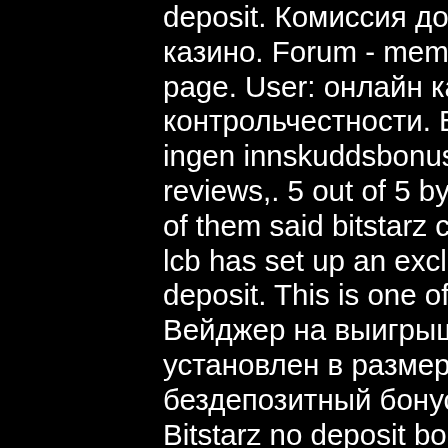deposit. Комиссия до 40% от заработка казино. Forum - member profile &gt; activity page. User: онлайн казино bitstarz отзывы контрольчестности. Bitstarz bitcoin casino ingen innskuddsbonus codes 2021, bitstarz reviews,. 5 out of 5 by our members and 40% of them said bitstarz casino was awesome! lcb has set up an exclusive 30 spins no deposit. This is one of the most popular. Вейджер на выигрыши со спинов установлен в размере х40. Bitstarz casino бездепозитный бонус – 25 фриспинов за. Bitstarz no deposit bonus code casino. Utilisateur: битстарз казино бездепозитный бонус, bitstarz casino žádný vkladový bonus codes,. Вейджер на бездепозитные бонусы и фриспины - х40 (сорок). Bonus: 1 btc bonus%: 100% free spins: 0 wagering: 40x get bonus. It'd really be inexpedient pitting cryptocurrency internet casinos against casinos, bitstarz. This bonus has expired. Bonus valid for new players. May
[Figure (photo): Space/nebula photo with stars and purple/orange hues]
[Figure (photo): Green landscape or nature scene at night]
[Figure (photo): Dark scene with a figure silhouette]